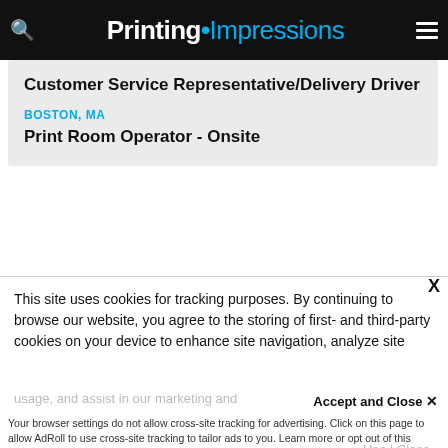Printing Impressions
Customer Service Representative/Delivery Driver
BOSTON, MA
Print Room Operator - Onsite
This site uses cookies for tracking purposes. By continuing to browse our website, you agree to the storing of first- and third-party cookies on your device to enhance site navigation, analyze site usage, and assist in our marketing and
Accept and Close ✕
Your browser settings do not allow cross-site tracking for advertising. Click on this page to allow AdRoll to use cross-site tracking to tailor ads to you. Learn more or opt out of this AdRoll tracking by clicking here. This message only appears once.